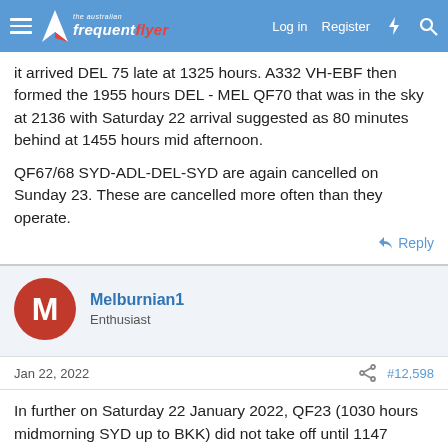The Australian Frequent Flyer — Log in | Register
it arrived DEL 75 late at 1325 hours. A332 VH-EBF then formed the 1955 hours DEL - MEL QF70 that was in the sky at 2136 with Saturday 22 arrival suggested as 80 minutes behind at 1455 hours mid afternoon.

QF67/68 SYD-ADL-DEL-SYD are again cancelled on Sunday 23. These are cancelled more often than they operate.
Reply
Melburnian1
Enthusiast
Jan 22, 2022
#12,598
In further on Saturday 22 January 2022, QF23 (1030 hours midmorning SYD up to BKK) did not take off until 1147 hours, so arrival is shortly at a suggested 1643, 33 minutes tardy. VH-QPI is the A333. If all goes well, QF24 (the 1755 hours) shouldn't be too late to arriving back before 22 hours or so.